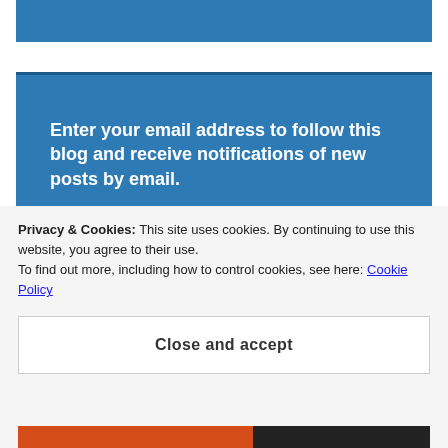[Figure (screenshot): Blue banner at top of webpage]
Enter your email address to follow this blog and receive notifications of new posts by email.
Enter your email address
Follow
Privacy & Cookies: This site uses cookies. By continuing to use this website, you agree to their use.
To find out more, including how to control cookies, see here: Cookie Policy
Close and accept